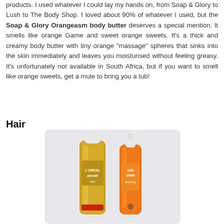products. I used whatever I could lay my hands on, from Soap & Glory to Lush to The Body Shop. I loved about 90% of whatever I used, but the Soap & Glory Orangeasm body butter deserves a special mention. It smells like orange Game and sweet orange sweets. It's a thick and creamy body butter with tiny orange "massage" spheres that sinks into the skin immediately and leaves you moisturised without feeling greasy. It's unfortunately not available in South Africa, but if you want to smell like orange sweets, get a mule to bring you a tub!
Hair
[Figure (photo): Two hair product bottles on a light surface: a gold L'Oreal elnett hairspray can and an orange Milk Shake hair product bottle]